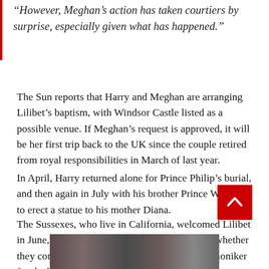brother Archie.
“However, Meghan’s action has taken courtiers by surprise, especially given what has happened.”
The Sun reports that Harry and Meghan are arranging Lilibet’s baptism, with Windsor Castle listed as a possible venue. If Meghan’s request is approved, it will be her first trip back to the UK since the couple retired from royal responsibilities in March of last year.
In April, Harry returned alone for Prince Philip’s burial, and then again in July with his brother Prince William to erect a statue to his mother Diana.
The Sussexes, who live in California, welcomed Lilibet in June, although there was some debate about whether they contacted the Queen before choosing her moniker for the baby.
[Figure (photo): Partial photo strip visible at bottom of page, showing people]